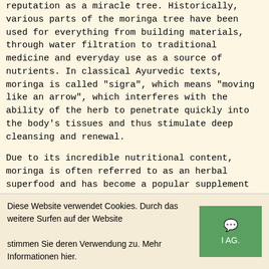reputation as a miracle tree. Historically, various parts of the moringa tree have been used for everything from building materials, through water filtration to traditional medicine and everyday use as a source of nutrients. In classical Ayurvedic texts, moringa is called "sigra", which means "moving like an arrow", which interferes with the ability of the herb to penetrate quickly into the body's tissues and thus stimulate deep cleansing and renewal.
Due to its incredible nutritional content, moringa is often referred to as an herbal superfood and has become a popular supplement for smoothies, cocktails and energy boosters. The powder can be easily poured into food to add extra nutritional value. In addition to the health-enhancing vitamins and minerals that are generally known to be found in morinse, such as vitamin C, vitamin A, calcium and iron, leaf powder is also commonly known to contain many of the essential amino acids needed to make a complete protein!
Diese Website verwendet Cookies. Durch das weitere Surfen auf der Website stimmen Sie deren Verwendung zu. Mehr Informationen hier.